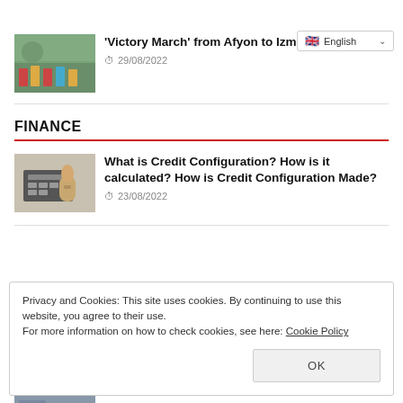English
'Victory March' from Afyon to Izmir Continues
29/08/2022
FINANCE
What is Credit Configuration? How is it calculated? How is Credit Configuration Made?
23/08/2022
Privacy and Cookies: This site uses cookies. By continuing to use this website, you agree to their use.
For more information on how to check cookies, see here: Cookie Policy